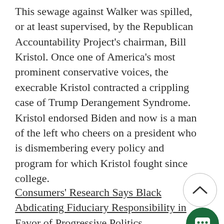This sewage against Walker was spilled, or at least supervised, by the Republican Accountability Project's chairman, Bill Kristol. Once one of America's most prominent conservative voices, the execrable Kristol contracted a crippling case of Trump Derangement Syndrome. Kristol endorsed Biden and now is a man of the left who cheers on a president who is dismembering every policy and program for which Kristol fought since college.
Consumers' Research Says BlackRock Abdicating Fiduciary Responsibility in Favor of Progressive Politics
Peter D'Abrosca, The Star News Network